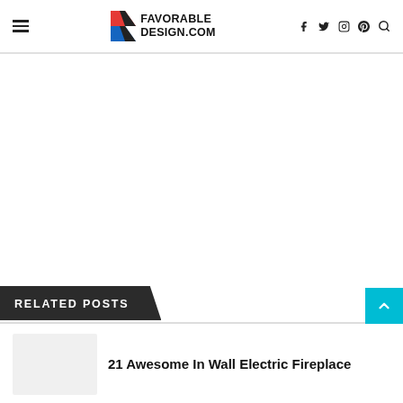FAVORABLE DESIGN.COM
RELATED POSTS
21 Awesome In Wall Electric Fireplace